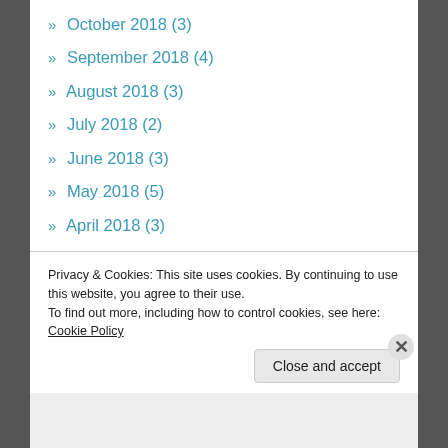» October 2018 (3)
» September 2018 (4)
» August 2018 (3)
» July 2018 (2)
» June 2018 (3)
» May 2018 (5)
» April 2018 (3)
» March 2018 (6)
» February 2018 (4)
» January 2018 (5)
» November 2017 (2)
Privacy & Cookies: This site uses cookies. By continuing to use this website, you agree to their use. To find out more, including how to control cookies, see here: Cookie Policy
Close and accept